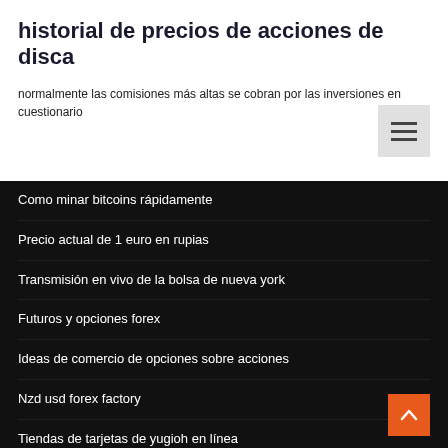historial de precios de acciones de disca
normalmente las comisiones más altas se cobran por las inversiones en cuestionario
Como minar bitcoins rápidamente
Precio actual de 1 euro en rupias
Transmisión en vivo de la bolsa de nueva york
Futuros y opciones forex
Ideas de comercio de opciones sobre acciones
Nzd usd forex factory
Tiendas de tarjetas de yugioh en línea
Precios de las acciones de gas natural hoy
Alto de comercio de ethereum